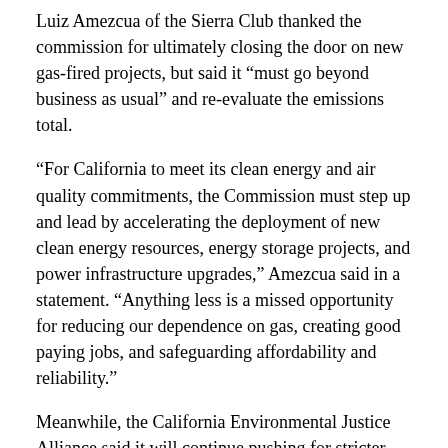Luiz Amezcua of the Sierra Club thanked the commission for ultimately closing the door on new gas-fired projects, but said it “must go beyond business as usual” and re-evaluate the emissions total.
“For California to meet its clean energy and air quality commitments, the Commission must step up and lead by accelerating the deployment of new clean energy resources, energy storage projects, and power infrastructure upgrades,” Amezcua said in a statement. “Anything less is a missed opportunity for reducing our dependence on gas, creating good paying jobs, and safeguarding affordability and reliability.”
Meanwhile, the California Environmental Justice Alliance said it will continue pushing for stricter targets and fighting for the low-income and minority communities living near gas-fired power plants.
“As the current health crisis has made painfully clear, the